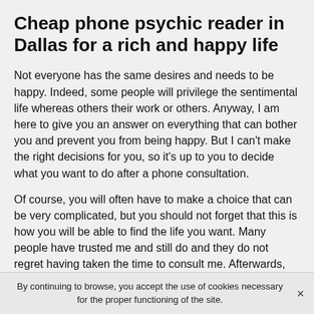Cheap phone psychic reader in Dallas for a rich and happy life
Not everyone has the same desires and needs to be happy. Indeed, some people will privilege the sentimental life whereas others their work or others. Anyway, I am here to give you an answer on everything that can bother you and prevent you from being happy. But I can't make the right decisions for you, so it's up to you to decide what you want to do after a phone consultation.
Of course, you will often have to make a choice that can be very complicated, but you should not forget that this is how you will be able to find the life you want. Many people have trusted me and still do and they do not regret having taken the time to consult me. Afterwards, they decided to follow my advice to find a more beautiful life.
By continuing to browse, you accept the use of cookies necessary for the proper functioning of the site. ×